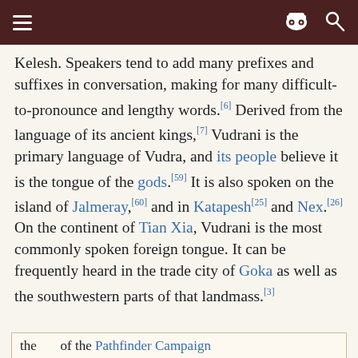Kelesh. Speakers tend to add many prefixes and suffixes in conversation, making for many difficult-to-pronounce and lengthy words.[6] Derived from the language of its ancient kings,[7] Vudrani is the primary language of Vudra, and its people believe it is the tongue of the gods.[59] It is also spoken on the island of Jalmeray,[60] and in Katapesh[25] and Nex.[26] On the continent of Tian Xia, Vudrani is the most commonly spoken foreign tongue. It can be frequently heard in the trade city of Goka as well as the southwestern parts of that landmass.[3]
the ... of the Pathfinder Campaign[14]